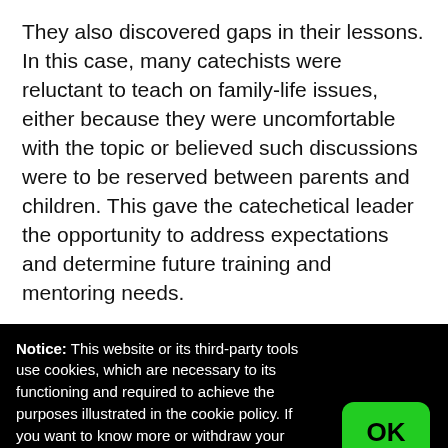They also discovered gaps in their lessons. In this case, many catechists were reluctant to teach on family-life issues, either because they were uncomfortable with the topic or believed such discussions were to be reserved between parents and children. This gave the catechetical leader the opportunity to address expectations and determine future training and mentoring needs.
Notice: This website or its third-party tools use cookies, which are necessary to its functioning and required to achieve the purposes illustrated in the cookie policy. If you want to know more or withdraw your consent to all or some of the cookies, please refer to the cookie policy.
By closing this banner, scrolling this page, clicking a link or continuing to browse otherwise, you agree to the use of cookies.